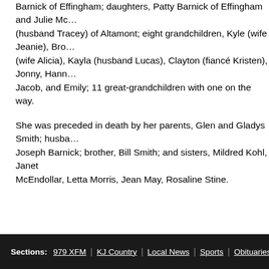Barnick of Effingham; daughters, Patty Barnick of Effingham and Julie Mc… (husband Tracey) of Altamont; eight grandchildren, Kyle (wife Jeanie), Bro… (wife Alicia), Kayla (husband Lucas), Clayton (fiancé Kristen), Jonny, Hann… Jacob, and Emily; 11 great-grandchildren with one on the way.
She was preceded in death by her parents, Glen and Gladys Smith; husba… Joseph Barnick; brother, Bill Smith; and sisters, Mildred Kohl, Janet McEndollar, Letta Morris, Jean May, Rosaline Stine.
Sections: 979 XFM | KJ Country | Local News | Sports | Obituaries | W…